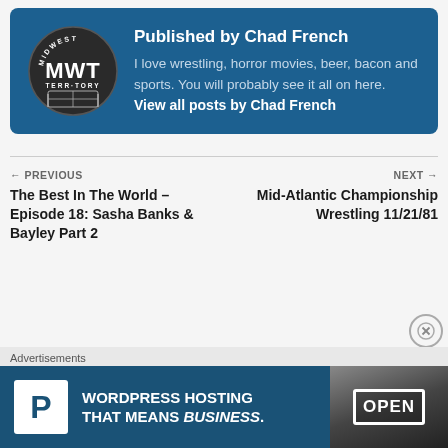[Figure (logo): Midwest Territory MWT circular logo in dark circle with wrestling ring graphic]
Published by Chad French
I love wrestling, horror movies, beer, bacon and sports. You will probably see it all on here. View all posts by Chad French
← PREVIOUS
The Best In The World – Episode 18: Sasha Banks & Bayley Part 2
NEXT →
Mid-Atlantic Championship Wrestling 11/21/81
[Figure (infographic): WordPress Hosting advertisement banner with P logo and OPEN sign photo]
Advertisements